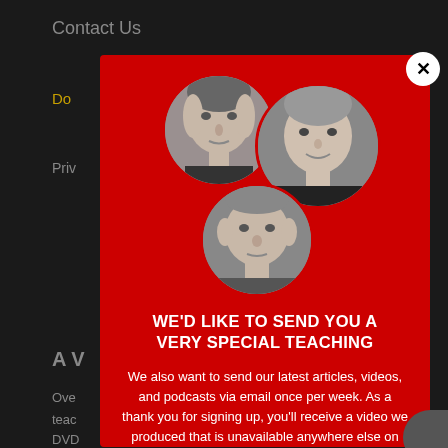Contact Us
Do
Priv
A V
Ove
teac
[Figure (photo): Modal popup with red background showing three circular black-and-white portrait photos of men, arranged in a triangle formation]
WE'D LIKE TO SEND YOU A VERY SPECIAL TEACHING
We also want to send our latest articles, videos, and podcasts via email once per week. As a thank you for signing up, you'll receive a video we produced that is unavailable anywhere else on the Internet.